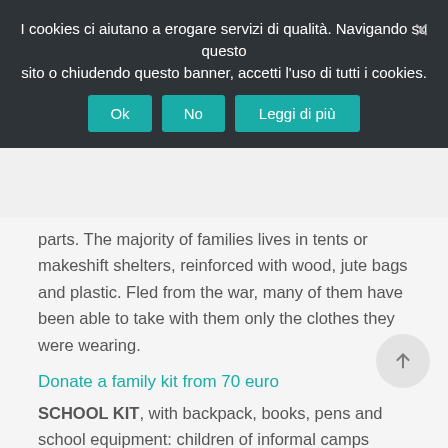I cookies ci aiutano a erogare servizi di qualità. Navigando su questo sito o chiudendo questo banner, accetti l'uso di tutti i cookies.
Ok | No | Leggi di più
parts. The majority of families lives in tents or makeshift shelters, reinforced with wood, jute bags and plastic. Fled from the war, many of them have been able to take with them only the clothes they were wearing.
Donate a family kit from 70 euro
SCHOOL KIT, with backpack, books, pens and school equipment: children of informal camps often do not have access to public schools and suffer from psychosocial trauma caused by the war, such as agoraphobia, socialization difficulties, bedwetting, insomnia, aggressiveness. Some informal camps organize a kind of school in the central tent: here the children sit on the floor; there are neither chairs nor